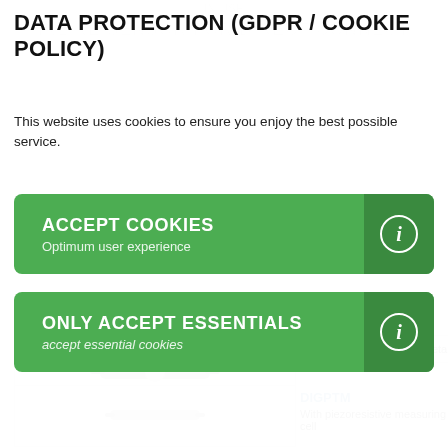DATA PROTECTION (GDPR / COOKIE POLICY)
This website uses cookies to ensure you enjoy the best possible service.
[Figure (screenshot): Green 'ACCEPT COOKIES' button with subtitle 'Optimum user experience' and dark green info icon on the right]
[Figure (screenshot): Green 'ONLY ACCEPT ESSENTIALS' button with subtitle 'accept essential cookies' and dark green info icon on the right]
[Figure (screenshot): Product card showing a sensor image with DS 9860.2 download button and Details button]
DIGPTM
With piezoresistive measuring cell